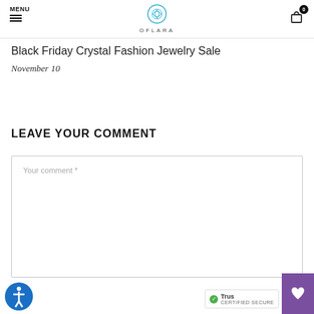MENU | OFLARA | 0
Black Friday Crystal Fashion Jewelry Sale
November 10
LEAVE YOUR COMMENT
Your comment *